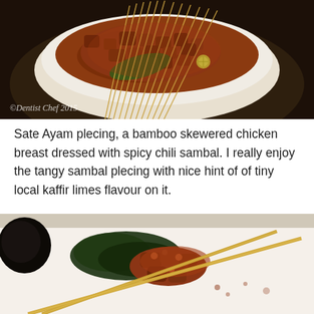[Figure (photo): Overhead shot of Sate Ayam plecing — bamboo-skewered chicken pieces coated in dark reddish-brown spicy chili sambal, served in a round white ceramic bowl on a dark plate, garnished with banana leaf and small lime slices. Bamboo skewer sticks fanned out at the top. Watermark reads ©Dentist Chef 2015.]
Sate Ayam plecing, a bamboo skewered chicken breast dressed with spicy chili sambal. I really enjoy  the tangy sambal plecing with nice hint of of tiny local kaffir limes flavour on it.
[Figure (photo): Close-up of bamboo-skewered chicken satay pieces coated in reddish-brown sambal/peanut sauce, served on a white plate with dark leafy greens (spinach) and a dark charred element. Two long bamboo skewers cross over the meat.]